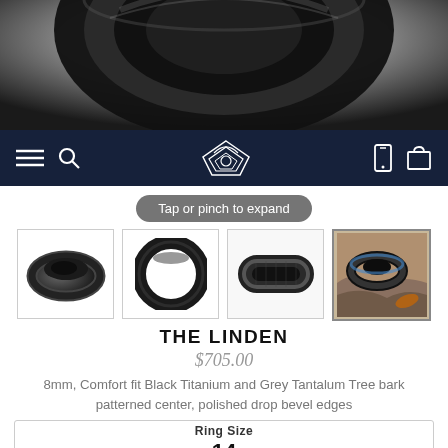[Figure (photo): Close-up hero image of a black titanium ring (The Linden) showing the ring from above on a white background]
[Figure (screenshot): Dark navy navigation bar with hamburger menu, search icon, diamond logo, phone and bag icons]
Tap or pinch to expand
[Figure (photo): Four thumbnail images of The Linden ring from different angles: angled view, front upright, flat top, and lifestyle photo on rocky surface]
THE LINDEN
$705.00
8mm, Comfort fit Black Titanium and Grey Tantalum Tree bark patterned center, polished drop bevel edges
Ring Size
14